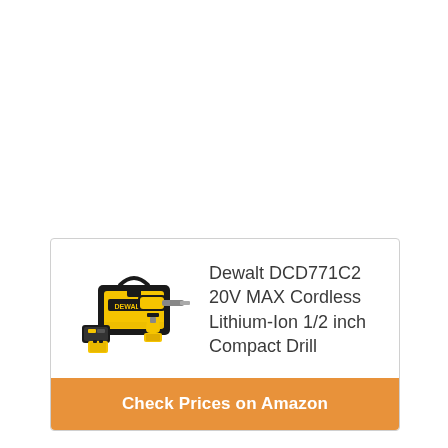[Figure (illustration): Product card showing a Dewalt DCD771C2 drill kit with yellow bag, charger, drill and battery]
Dewalt DCD771C2 20V MAX Cordless Lithium-Ion 1/2 inch Compact Drill
Check Prices on Amazon